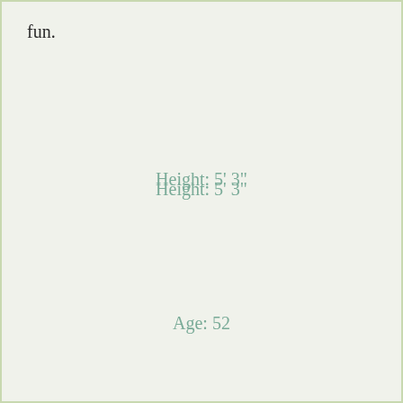fun.
Height: 5' 3"
Age: 52
Name: Maryseillg262
Body: Heavyset
Marital Status: Divorced
Hair: Black